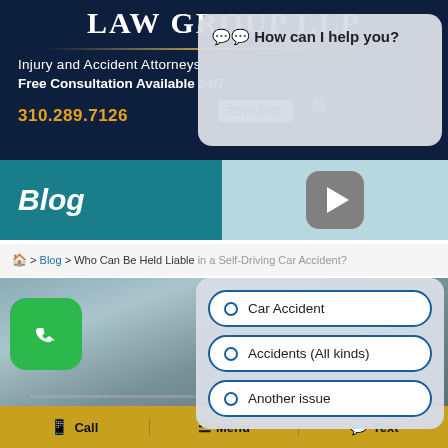LAW GROUP LLP
Injury and Accident Attorneys
Free Consultation Available 24/7
310.289.7126
ESPAÑOL
[Figure (screenshot): Chat popup with text 'How can I help you?']
Blog
[Figure (other): Play button icon on teal/light blue background]
🏠 > Blog > Who Can Be Held Liable in a Self-Driving Car Accident?
[Figure (photo): Road/highway photo from driver's perspective]
Car Accident
Accidents (All kinds)
Another issue
📱 Call   ☰ Menu   💬 Text